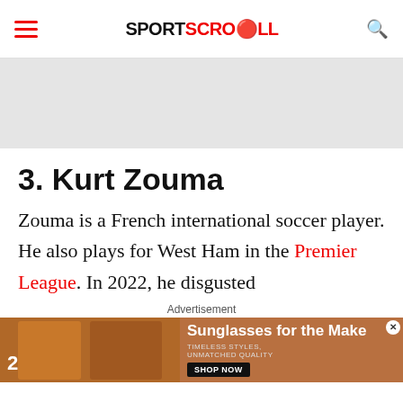SPORTSCROLL
[Figure (other): Gray advertisement banner placeholder]
3. Kurt Zouma
Zouma is a French international soccer player. He also plays for West Ham in the Premier League. In 2022, he disgusted
Advertisement
[Figure (photo): Advertisement showing two women wearing sunglasses. Text reads: Sunglasses for the Make, TIMELESS STYLES, UNMATCHED QUALITY, SHOP NOW]